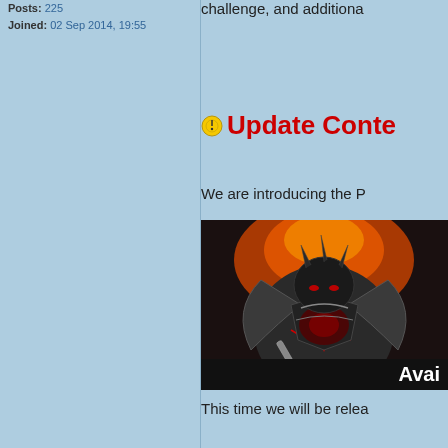Posts: 225
Joined: 02 Sep 2014, 19:55
Update Conte
We are introducing the P
[Figure (illustration): Dark armored fantasy warrior/villain character with red glowing accents, holding a weapon, with fire in the background. Text overlay at bottom reads 'Avai']
This time we will be relea